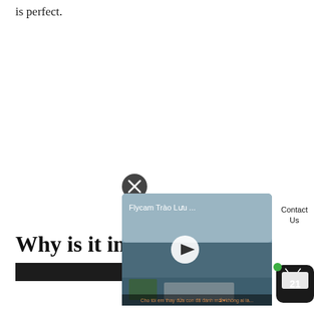is perfect.
Why is it impo
[Figure (screenshot): A video popup overlay showing a person in a blue jacket with arms outstretched outdoors. The video is titled 'Flycam Trào Lưu ...' with a play button in the center and a close (X) button in the top-left of the popup. A 'Contact Us' white rounded box appears to the right. A TV21 badge with a green dot appears in the lower right corner.]